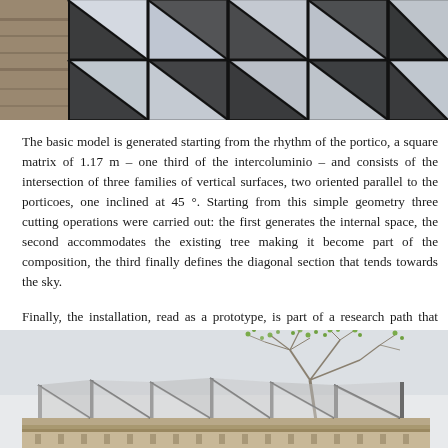[Figure (photo): Close-up photo of a geometric architectural installation with triangular mirror/glass panels arranged in a grid pattern, reflecting surroundings. Visible dark structural frames between the panels.]
The basic model is generated starting from the rhythm of the portico, a square matrix of 1.17 m – one third of the intercoluminio – and consists of the intersection of three families of vertical surfaces, two oriented parallel to the porticoes, one inclined at 45 °. Starting from this simple geometry three cutting operations were carried out: the first generates the internal space, the second accommodates the existing tree making it become part of the composition, the third finally defines the diagonal section that tends towards the sky.
Finally, the installation, read as a prototype, is part of a research path that Labics has been carrying out for years on the relationship between structure and space and on the idea of the supporting structure as an element of maximum reduction of the architecture.
[Figure (photo): Exterior photograph of an architectural installation showing a geometric steel structure with triangular panels, set against a classical portico building facade. A bare tree with spring buds is visible through/beside the structure.]